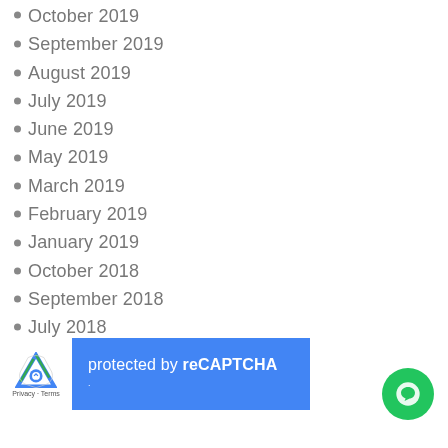October 2019
September 2019
August 2019
July 2019
June 2019
May 2019
March 2019
February 2019
January 2019
October 2018
September 2018
July 2018
December 2017
[Figure (screenshot): reCAPTCHA protection bar with Google logo, text 'protected by reCAPTCHA', and Privacy/Terms links]